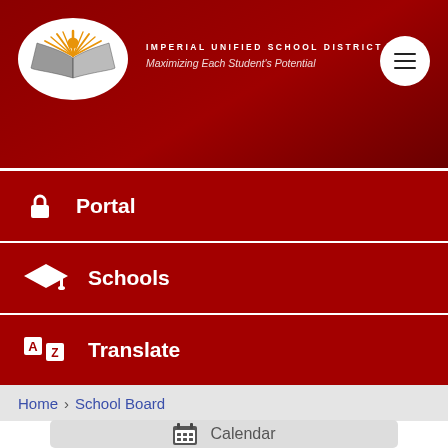[Figure (logo): Imperial Unified School District logo — open book with sunburst rays, in white oval]
IMPERIAL UNIFIED SCHOOL DISTRICT
Maximizing Each Student's Potential
Portal
Schools
Translate
Home > School Board
Calendar